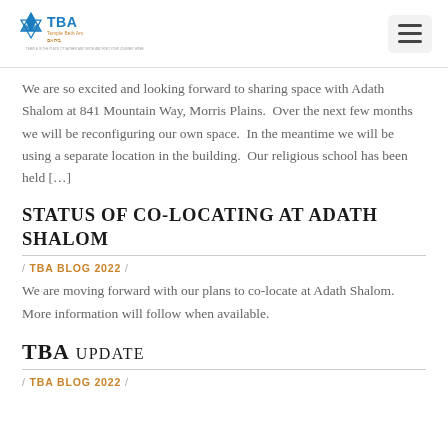TBA Temple Beth Am logo and navigation menu
We are so excited and looking forward to sharing space with Adath Shalom at 841 Mountain Way, Morris Plains. Over the next few months we will be reconfiguring our own space. In the meantime we will be using a separate location in the building. Our religious school has been held […]
Status of co-locating at Adath Shalom
/ TBA BLOG 2022 /
We are moving forward with our plans to co-locate at Adath Shalom. More information will follow when available.
TBA UPDATE
/ TBA BLOG 2022 /